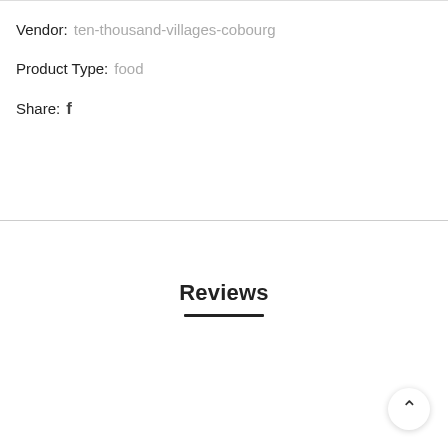Vendor:  ten-thousand-villages-cobourg
Product Type:  food
Share:  f
Reviews